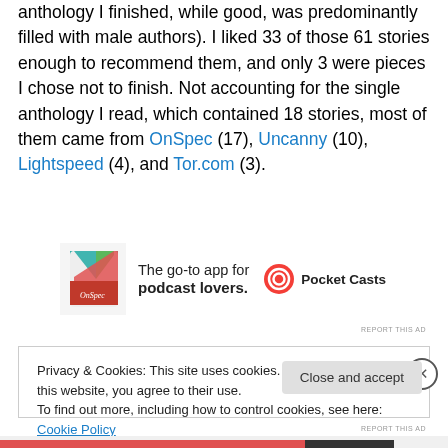anthology I finished, while good, was predominantly filled with male authors). I liked 33 of those 61 stories enough to recommend them, and only 3 were pieces I chose not to finish. Not accounting for the single anthology I read, which contained 18 stories, most of them came from OnSpec (17), Uncanny (10), Lightspeed (4), and Tor.com (3).
[Figure (infographic): Advertisement banner for Pocket Casts app with logo and text 'The go-to app for podcast lovers.' with Pocket Casts logo and name.]
Privacy & Cookies: This site uses cookies. By continuing to use this website, you agree to their use. To find out more, including how to control cookies, see here: Cookie Policy
Close and accept